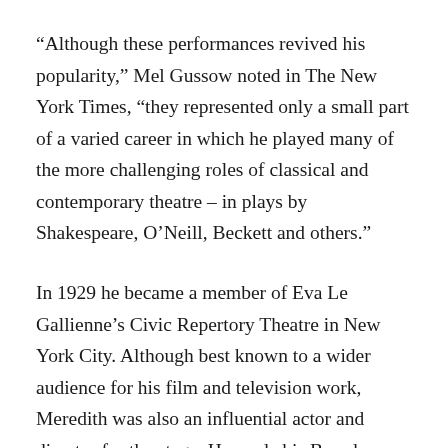“Although these performances revived his popularity,” Mel Gussow noted in The New York Times, “they represented only a small part of a varied career in which he played many of the more challenging roles of classical and contemporary theatre – in plays by Shakespeare, O’Neill, Beckett and others.”
In 1929 he became a member of Eva Le Gallienne’s Civic Repertory Theatre in New York City. Although best known to a wider audience for his film and television work, Meredith was also an influential actor and director for the stage. He made his Broadway debut as Peter in Le Gallienne’s production of Romeo and Juliet (1930) and went on to star in